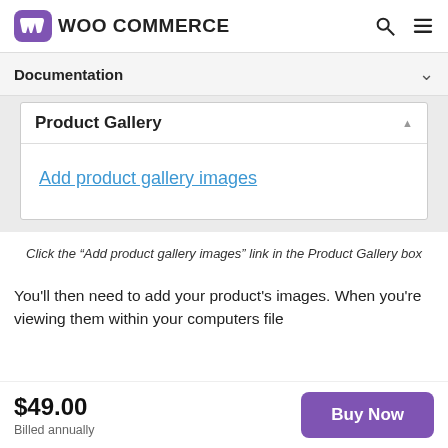WooCommerce
Documentation
[Figure (screenshot): Product Gallery metabox UI showing 'Add product gallery images' link]
Click the “Add product gallery images” link in the Product Gallery box
You’ll then need to add your product’s images. When you’re viewing them within your computers file
$49.00 Billed annually | Buy Now